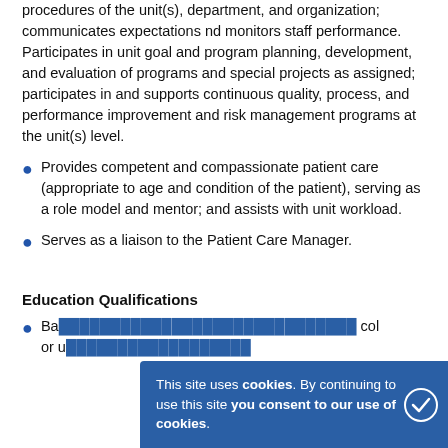procedures of the unit(s), department, and organization; communicates expectations nd monitors staff performance. Participates in unit goal and program planning, development, and evaluation of programs and special projects as assigned; participates in and supports continuous quality, process, and performance improvement and risk management programs at the unit(s) level.
Provides competent and compassionate patient care (appropriate to age and condition of the patient), serving as a role model and mentor; and assists with unit workload.
Serves as a liaison to the Patient Care Manager.
Education Qualifications
Ba... or u...
This site uses cookies. By continuing to use this site you consent to our use of cookies.